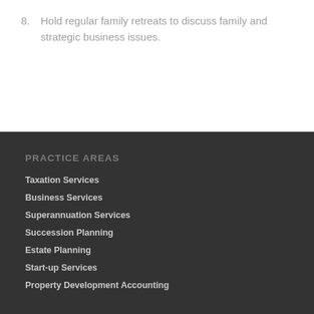8. Hold regular family retreats to discuss family and strategic business issues.
PRACTICE AREAS
Taxation Services
Business Services
Superannuation Services
Succession Planning
Estate Planning
Start-up Services
Property Development Accounting